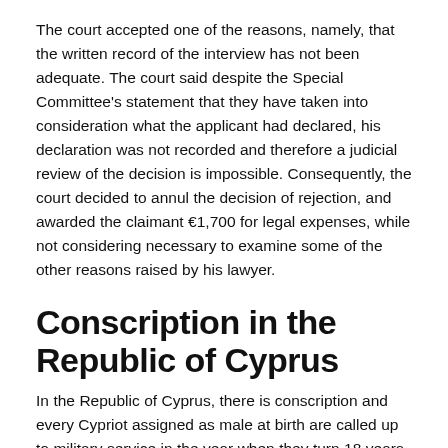The court accepted one of the reasons, namely, that the written record of the interview has not been adequate. The court said despite the Special Committee's statement that they have taken into consideration what the applicant had declared, his declaration was not recorded and therefore a judicial review of the decision is impossible. Consequently, the court decided to annul the decision of rejection, and awarded the claimant €1,700 for legal expenses, while not considering necessary to examine some of the other reasons raised by his lawyer.
Conscription in the Republic of Cyprus
In the Republic of Cyprus, there is conscription and every Cypriot assigned as male at birth are called up to military service in the year when they turn 18 years of age, which means they can even be called up when still underage. The right to conscientious objection is recognised but its regulation and implementation do not meet international standards. The